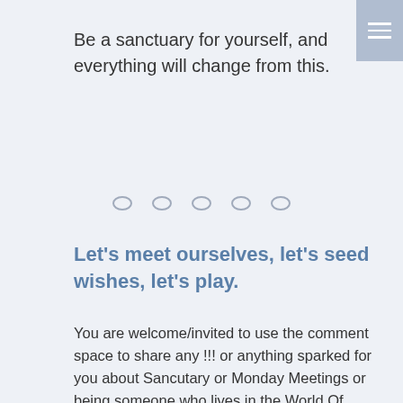Be a sanctuary for yourself, and everything will change from this.
[Figure (other): Five pagination dots in a row]
Let’s meet ourselves, let’s seed wishes, let’s play.
You are welcome/invited to use the comment space to share any !!! or anything sparked for you about Sancutary or Monday Meetings or being someone who lives in the World Of Concepts when the expectation is that we get how the World Of Things works, or really anything I wrote about here (I know it was a lot).
If you want to talk to any version of Incoming You or hold your own Monday Meeting, go for it. You’re